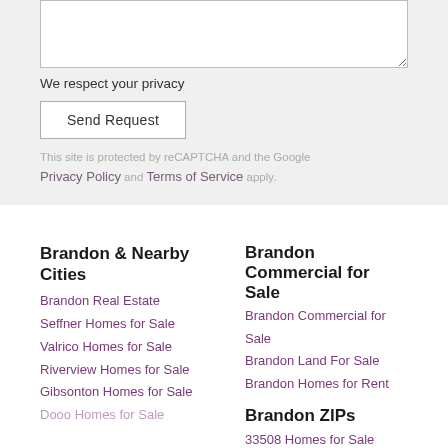We respect your privacy
Send Request
This site is protected by reCAPTCHA and the Google Privacy Policy and Terms of Service apply.
Brandon & Nearby Cities
Brandon Real Estate
Seffner Homes for Sale
Valrico Homes for Sale
Riverview Homes for Sale
Gibsonton Homes for Sale
Brandon Commercial for Sale
Brandon Land For Sale
Brandon Homes for Rent
Brandon ZIPs
33508 Homes for Sale
33509 Homes for Sale
33510 Homes for Sale
33511 Homes for Sale